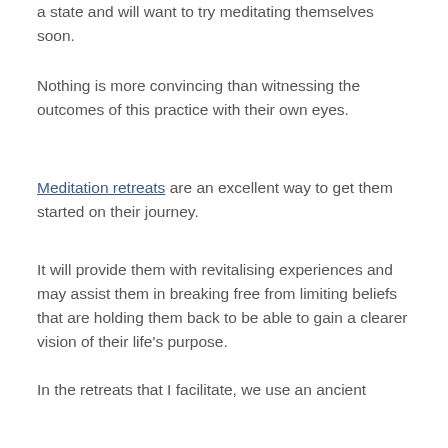a state and will want to try meditating themselves soon.
Nothing is more convincing than witnessing the outcomes of this practice with their own eyes.
Meditation retreats are an excellent way to get them started on their journey.
It will provide them with revitalising experiences and may assist them in breaking free from limiting beliefs that are holding them back to be able to gain a clearer vision of their life's purpose.
In the retreats that I facilitate, we use an ancient sequence of yoga, breathwork and meditation to upgrade the mind, and body.
Many attendees of my programs and retreats